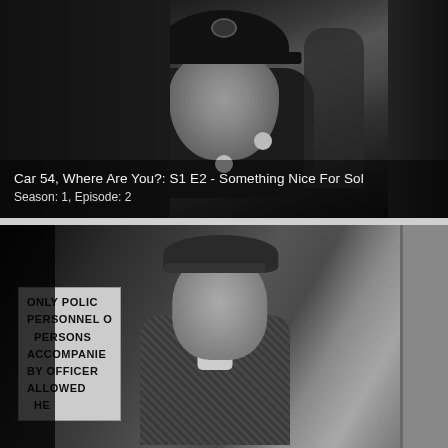[Figure (photo): Black and white still from TV show showing a man in a police uniform and cap looking upward, with another figure visible in the background.]
Car 54, Where Are You?: S1 E2 - Something Nice For Sol
Season: 1, Episode: 2
[Figure (photo): Black and white still from TV show showing a man in a beret and plaid jacket standing in front of a sign reading 'ONLY POLICE PERSONNEL OR PERSONS ACCOMPANIED BY OFFICERS ALLOWED HERE'.]